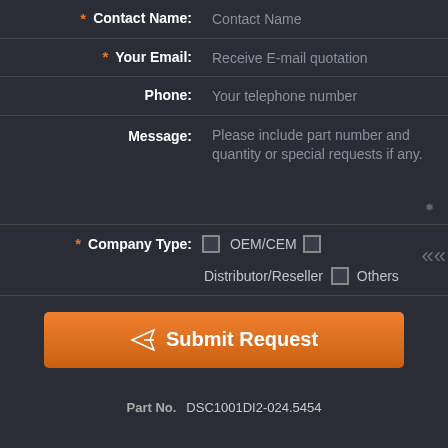* Contact Name: Contact Name
* Your Email: Receive E-mail quotation
Phone: Your telephone number
Message: Please include part number and quantity or special requests if any.
* Company Type: OEM/CEM  Distributor/Reseller  Others
Submit Request
Part No.  DSC1001DI2-024.5454